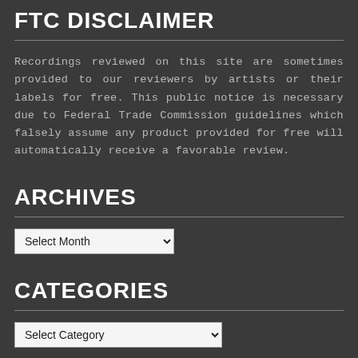FTC DISCLAIMER
Recordings reviewed on this site are sometimes provided to our reviewers by artists or their labels for free. This public notice is necessary due to Federal Trade Commission guidelines which falsely assume any product provided for free will automatically receive a favorable review.
ARCHIVES
Select Month (dropdown)
CATEGORIES
Select Category (dropdown)